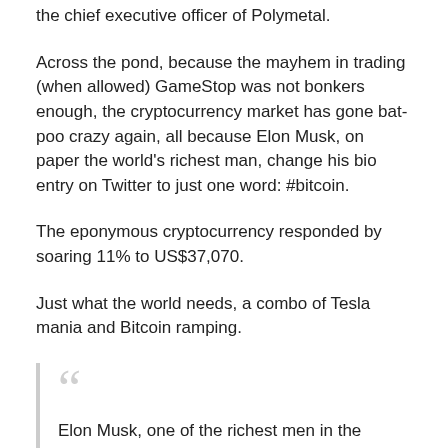the chief executive officer of Polymetal.
Across the pond, because the mayhem in trading (when allowed) GameStop was not bonkers enough, the cryptocurrency market has gone bat-poo crazy again, all because Elon Musk, on paper the world's richest man, change his bio entry on Twitter to just one word: #bitcoin.
The eponymous cryptocurrency responded by soaring 11% to US$37,070.
Just what the world needs, a combo of Tesla mania and Bitcoin ramping.
Elon Musk, one of the richest men in the